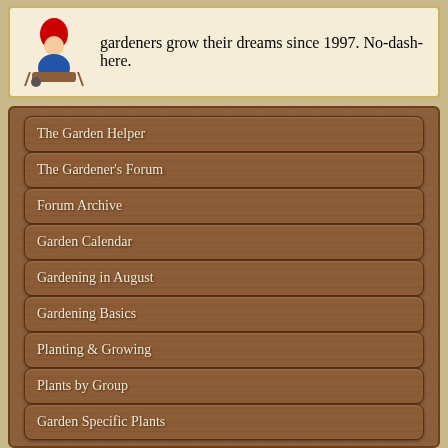gardeners grow their dreams since 1997. No-dash-here.
The Garden Helper
The Gardener's Forum
Forum Archive
Garden Calendar
Gardening in August
Gardening Basics
Planting & Growing
Plants by Group
Garden Specific Plants